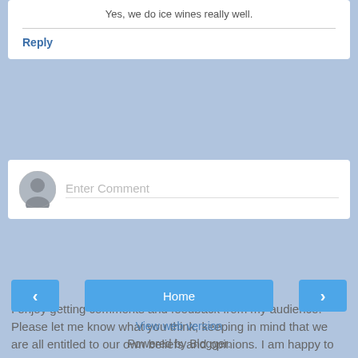Yes, we do ice wines really well.
Reply
[Figure (other): Enter Comment input field with user avatar icon]
I enjoy getting comments and feedback from my audience. Please let me know what you think, keeping in mind that we are all entitled to our own beliefs and opinions. I am happy to hear yours as long as they are stated nicely.
Home
View web version
Powered by Blogger.